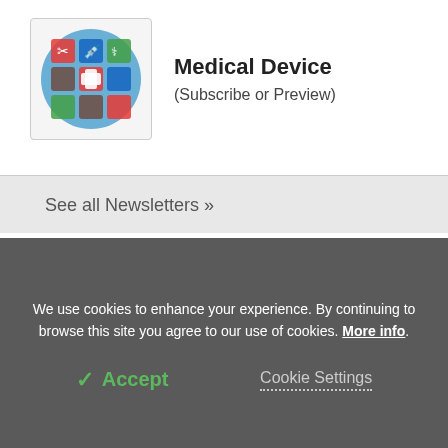[Figure (logo): Medical Device newsletter icon with circular logo containing medical icons]
Medical Device
(Subscribe or Preview)
See all Newsletters »
[Figure (logo): HON CODE certification badge - red and blue square logo with @code text]
[Figure (logo): 15 Years HONCODE anniversary badge - dark blue seal with checkmark]
[Figure (logo): TRUSTe Certified Privacy badge - white rectangle with green logo and TrustArc branding]
We use cookies to enhance your experience. By continuing to browse this site you agree to our use of cookies. More info.
✓ Accept
Cookie Settings